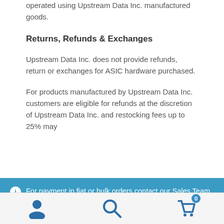operated using Upstream Data Inc. manufactured goods.
Returns, Refunds & Exchanges
Upstream Data Inc. does not provide refunds, return or exchanges for ASIC hardware purchased.
For products manufactured by Upstream Data Inc. customers are eligible for refunds at the discretion of Upstream Data Inc. and restocking fees up to 25% may
For payment in fiat or bulk orders contact our Sales Team. Dismiss